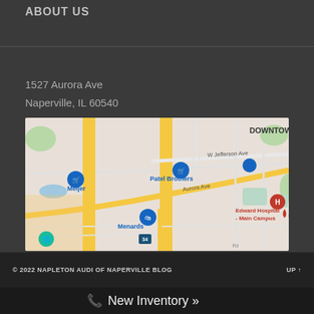ABOUT US
1527 Aurora Ave
Naperville, IL 60540
[Figure (map): Google Maps screenshot showing area around 1527 Aurora Ave, Naperville IL 60540. Visible landmarks include Meijer, Patel Brothers, Menards, Edward Hospital - Main Campus, W Jefferson Ave, Aurora Ave, and DOWNTOWN label in upper right.]
© 2022 NAPLETON AUDI OF NAPERVILLE BLOG
New Inventory »